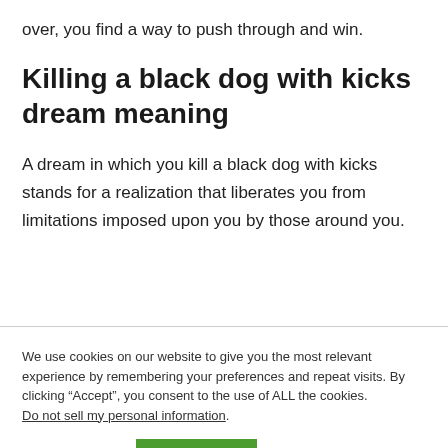over, you find a way to push through and win.
Killing a black dog with kicks dream meaning
A dream in which you kill a black dog with kicks stands for a realization that liberates you from limitations imposed upon you by those around you.
We use cookies on our website to give you the most relevant experience by remembering your preferences and repeat visits. By clicking “Accept”, you consent to the use of ALL the cookies.
Do not sell my personal information.
Cookie settings  ACCEPT